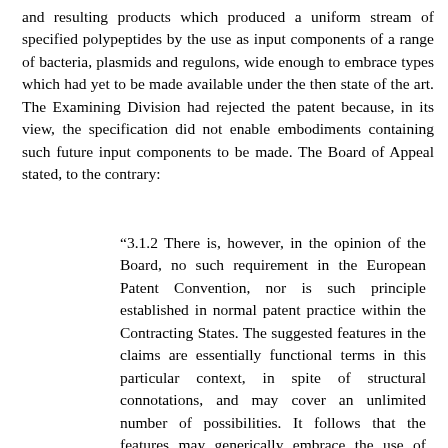and resulting products which produced a uniform stream of specified polypeptides by the use as input components of a range of bacteria, plasmids and regulons, wide enough to embrace types which had yet to be made available under the then state of the art. The Examining Division had rejected the patent because, in its view, the specification did not enable embodiments containing such future input components to be made. The Board of Appeal stated, to the contrary:
“3.1.2 There is, however, in the opinion of the Board, no such requirement in the European Patent Convention, nor is such principle established in normal patent practice within the Contracting States. The suggested features in the claims are essentially functional terms in this particular context, in spite of structural connotations, and may cover an unlimited number of possibilities. It follows that the features may generically embrace the use of unknown or not yet envisaged possibilities, including